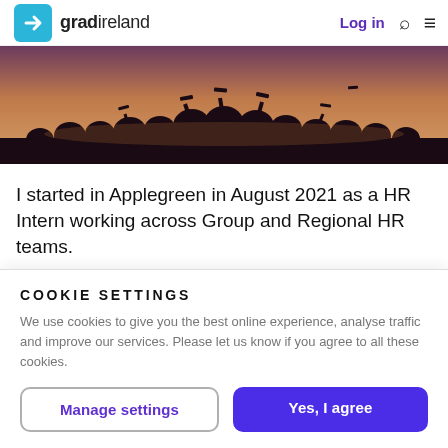gradireland | Log in
[Figure (photo): Silhouette of graduating students tossing caps in the air at sunset]
I started in Applegreen in August 2021 as a HR Intern working across Group and Regional HR teams.
While no two weeks are ever the same, they are based on collaboration
COOKIE SETTINGS
We use cookies to give you the best online experience, analyse traffic and improve our services. Please let us know if you agree to all these cookies.
Manage settings | Yes, I agree